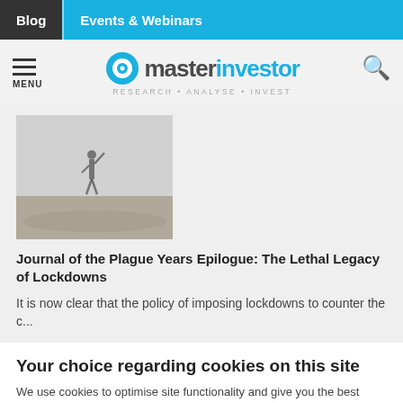Blog  Events & Webinars
[Figure (logo): Master Investor logo with hamburger menu and search icon. Tagline: RESEARCH • ANALYSE • INVEST]
[Figure (photo): Misty outdoor scene with a person walking in fog]
Journal of the Plague Years Epilogue: The Lethal Legacy of Lockdowns
It is now clear that the policy of imposing lockdowns to counter the c...
Your choice regarding cookies on this site
We use cookies to optimise site functionality and give you the best possible experience.
Accept  Cookie Preferences  ×